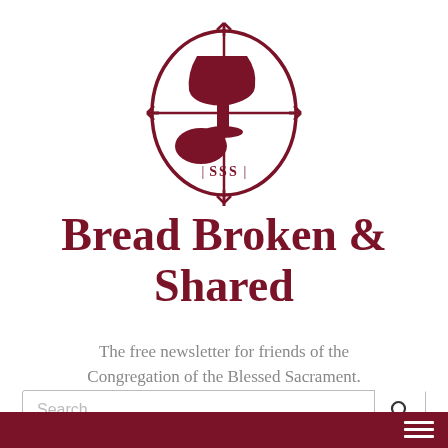[Figure (logo): Circular logo of the Congregation of the Blessed Sacrament (SSS) — dark red/maroon emblem showing a chalice with cross motif inside an oval, with SSS letters at the bottom]
Bread Broken & Shared
The free newsletter for friends of the Congregation of the Blessed Sacrament.